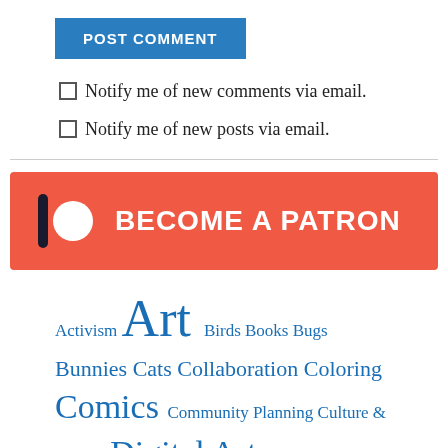[Figure (other): Blue POST COMMENT button]
Notify me of new comments via email.
Notify me of new posts via email.
[Figure (other): Patreon BECOME A PATRON banner button in coral/red with Patreon logo]
Activism Art Birds Books Bugs Bunnies Cats Collaboration Coloring Comics Community Planning Culture & Politics Digital Art Disability Drawing Dream It Do It Energy Efficiency Environmentalism Family